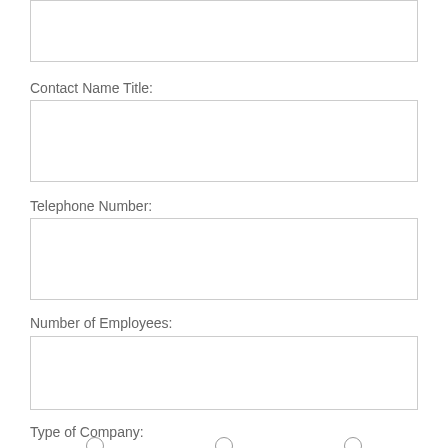Contact Name Title:
Telephone Number:
Number of Employees:
Type of Company:
Broker/Agent   C Corp   S Corp